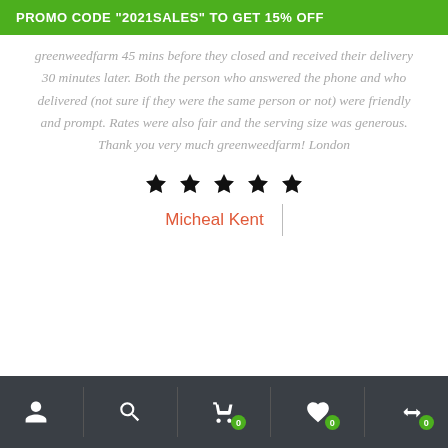PROMO CODE "2021SALES" TO GET 15% OFF
greenweedfarm 45 mins before they closed and received their delivery 30 minutes later. Both the person who answered the phone and who delivered (not sure if they were the same person or not) were friendly and prompt. Rates were also fair and the serving size was generous. Thank you very much greenweedfarm! London
[Figure (other): Five filled black stars rating]
Micheal Kent
Navigation bar with user, search, cart (0), wishlist (0), and compare (0) icons